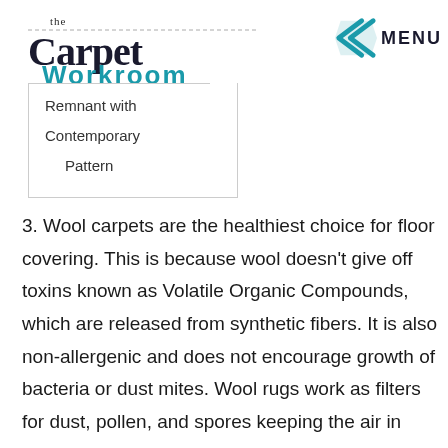the Carpet Workroom
MENU
Remnant with Contemporary Pattern
3. Wool carpets are the healthiest choice for floor covering. This is because wool doesn't give off toxins known as Volatile Organic Compounds, which are released from synthetic fibers. It is also non-allergenic and does not encourage growth of bacteria or dust mites. Wool rugs work as filters for dust, pollen, and spores keeping the air in your room as fresh as possible. You can even place your wool rug in the